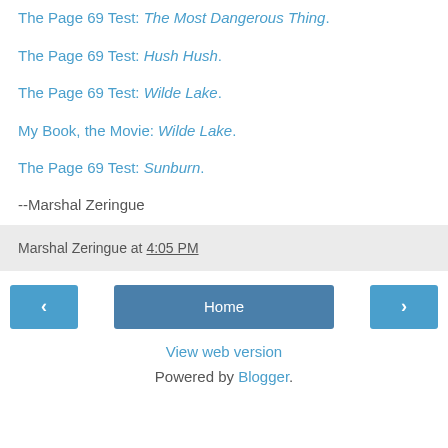The Page 69 Test: The Most Dangerous Thing.
The Page 69 Test: Hush Hush.
The Page 69 Test: Wilde Lake.
My Book, the Movie: Wilde Lake.
The Page 69 Test: Sunburn.
--Marshal Zeringue
Marshal Zeringue at 4:05 PM
< [nav] Home [nav] >
View web version
Powered by Blogger.